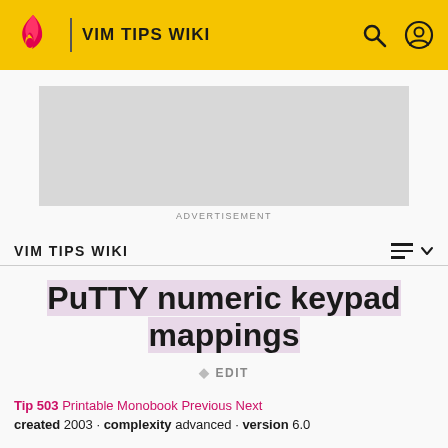VIM TIPS WIKI
[Figure (other): Advertisement placeholder (grey rectangle)]
ADVERTISEMENT
VIM TIPS WIKI
PuTTY numeric keypad mappings
✏ EDIT
Tip 503 Printable Monobook Previous Next
created 2003 · complexity advanced · version 6.0